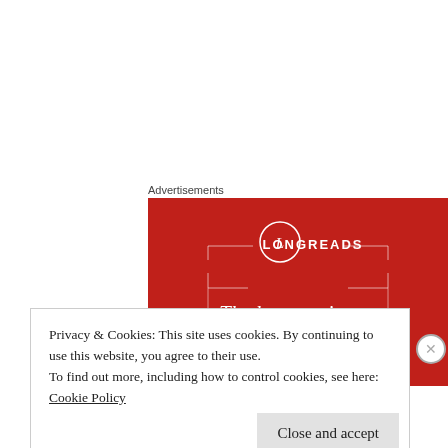Advertisements
[Figure (illustration): Longreads advertisement banner with red background showing the Longreads logo (circle with L) and text: The best stories on the web – ours, and everyone else's.]
Privacy & Cookies: This site uses cookies. By continuing to use this website, you agree to their use.
To find out more, including how to control cookies, see here:
Cookie Policy
Close and accept